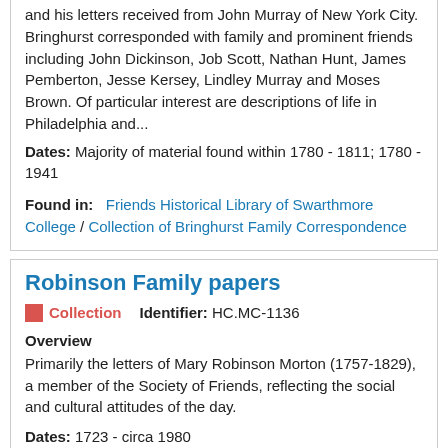and his letters received from John Murray of New York City. Bringhurst corresponded with family and prominent friends including John Dickinson, Job Scott, Nathan Hunt, James Pemberton, Jesse Kersey, Lindley Murray and Moses Brown. Of particular interest are descriptions of life in Philadelphia and...
Dates: Majority of material found within 1780 - 1811; 1780 - 1941
Found in: Friends Historical Library of Swarthmore College / Collection of Bringhurst Family Correspondence
Robinson Family papers
Collection   Identifier: HC.MC-1136
Overview
Primarily the letters of Mary Robinson Morton (1757-1829), a member of the Society of Friends, reflecting the social and cultural attitudes of the day.
Dates: 1723 - circa 1980
Found in: Haverford College Quaker & Special